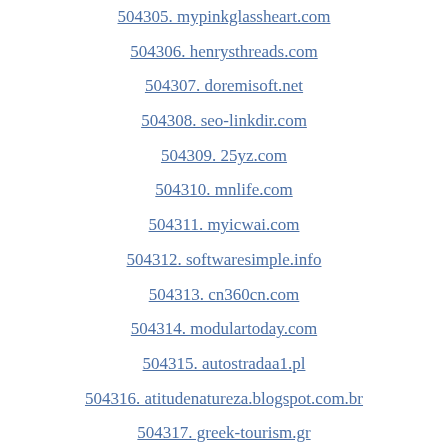504305. mypinkglassheart.com
504306. henrysthreads.com
504307. doremisoft.net
504308. seo-linkdir.com
504309. 25yz.com
504310. mnlife.com
504311. myicwai.com
504312. softwaresimple.info
504313. cn360cn.com
504314. modulartoday.com
504315. autostradaa1.pl
504316. atitudenatureza.blogspot.com.br
504317. greek-tourism.gr
504318. librairie-inconnu.com
504319. liontech.cn